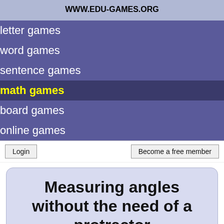WWW.EDU-GAMES.ORG
letter games
word games
sentence games
math games
board games
online games
Login
Become a free member
Measuring angles without the need of a protractor